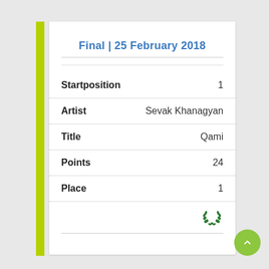Final | 25 February 2018
| Field | Value |
| --- | --- |
| Startposition | 1 |
| Artist | Sevak Khanagyan |
| Title | Qami |
| Points | 24 |
| Place | 1 |